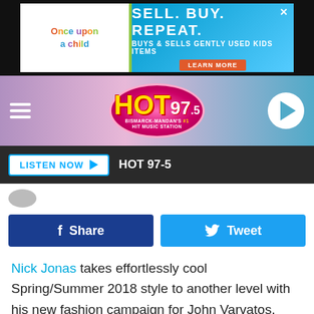[Figure (screenshot): Top advertisement banner: Once Upon a Child / Sell. Buy. Repeat. - Buys & Sells Gently Used Kids Items. Learn More button.]
[Figure (logo): HOT 97.5 Bismarck-Mandan's #1 Hit Music Station radio header with hamburger menu and play button]
LISTEN NOW ▶   HOT 97-5
[Figure (screenshot): Facebook Share button (dark blue) and Twitter Tweet button (cyan blue) social sharing buttons]
Nick Jonas takes effortlessly cool Spring/Summer 2018 style to another level with his new fashion campaign for John Varvatos.
Along with being the face of the designer's new line, the pop star also collaborated on an exclusive limited edition capsule collection for the Detroit-based menswear brand
[Figure (screenshot): Bottom advertisement: RiverWood RV - 101 Riverwood Ave SE Mandan, 701-663-0050, www.riverwoodrvs.com]